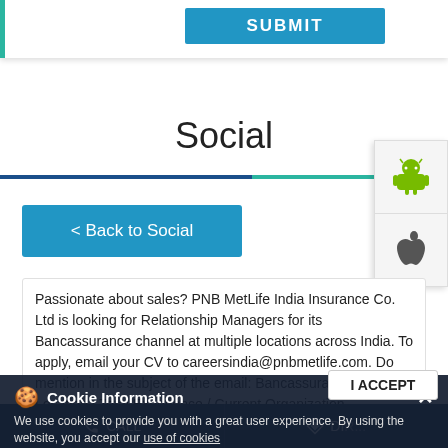[Figure (screenshot): Submit button at top of web form with teal left border]
Social
[Figure (screenshot): Android and Apple app download icon panel on right side]
[Figure (screenshot): < Back to Social blue button]
Passionate about sales? PNB MetLife India Insurance Co. Ltd is looking for Relationship Managers for its Bancassurance channel at multiple locations across India. To apply, email your CV to careersindia@pnbmetlife.com. Do mention in the subject of the email: Bancassurance Sales / Location / Total Experience / Current Organization. Disclaimer: https://pnbmetlife/toc.html #PNBMetLife #LifeInsurance #MilkarLifeAageBadhaein #KaroBadeSapnoKiTayyari #Hiring #JobAlert #JobPosting #HiringNow #SalesManager #InsuranceJobs
Cookie Information
We use cookies to provide you with a great user experience. By using the website, you accept our use of cookies
[Figure (screenshot): I ACCEPT button for cookie consent]
CALL   DIRECTIONS